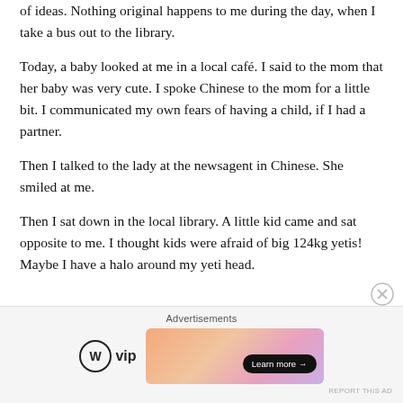of ideas. Nothing original happens to me during the day, when I take a bus out to the library.
Today, a baby looked at me in a local café. I said to the mom that her baby was very cute. I spoke Chinese to the mom for a little bit. I communicated my own fears of having a child, if I had a partner.
Then I talked to the lady at the newsagent in Chinese. She smiled at me.
Then I sat down in the local library. A little kid came and sat opposite to me. I thought kids were afraid of big 124kg yetis! Maybe I have a halo around my yeti head.
[Figure (other): Advertisement banner with WordPress VIP logo and a colorful gradient banner with a Learn more button. Close (X) button in the top right corner. 'Advertisements' label at top. 'Report this ad' text at bottom.]